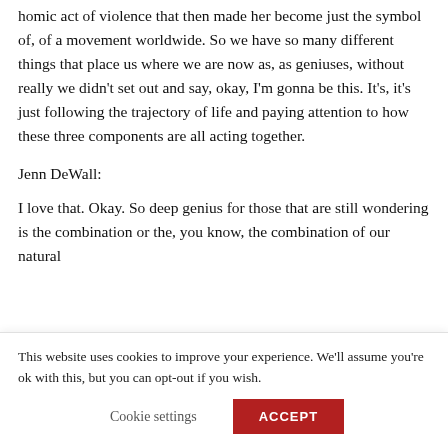homic act of violence that then made her become just the symbol of, of a movement worldwide. So we have so many different things that place us where we are now as, as geniuses, without really we didn't set out and say, okay, I'm gonna be this. It's, it's just following the trajectory of life and paying attention to how these three components are all acting together.
Jenn DeWall:
I love that. Okay. So deep genius for those that are still wondering is the combination or the, you know, the combination of our natural
This website uses cookies to improve your experience. We'll assume you're ok with this, but you can opt-out if you wish.